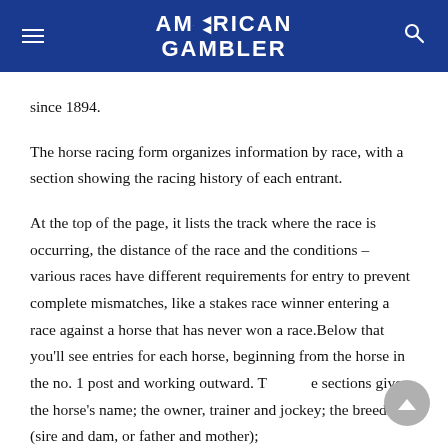AMERICAN GAMBLER
since 1894.
The horse racing form organizes information by race, with a section showing the racing history of each entrant.
At the top of the page, it lists the track where the race is occurring, the distance of the race and the conditions – various races have different requirements for entry to prevent complete mismatches, like a stakes race winner entering a race against a horse that has never won a race.Below that you'll see entries for each horse, beginning from the horse in the no. 1 post and working outward. Those sections give the horse's name; the owner, trainer and jockey; the breeding (sire and dam, or father and mother);